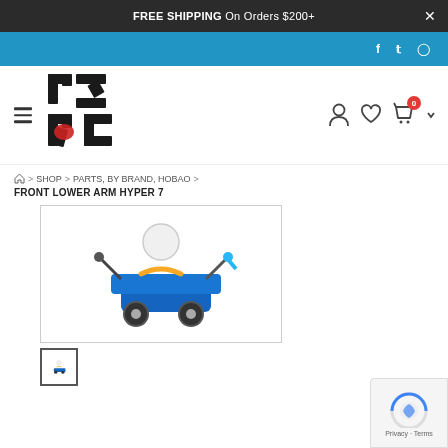FREE SHIPPING On Orders $200+
[Figure (logo): OZ RC logo with stylized letters in black and red]
SHOP > PARTS, BY BRAND, HOBAO > FRONT LOWER ARM HYPER 7
[Figure (photo): RC car/vehicle parts product image on white background]
[Figure (thumbnail): Small thumbnail of the same product]